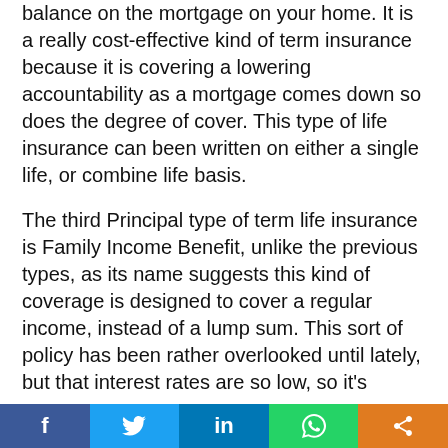balance on the mortgage on your home. It is a really cost-effective kind of term insurance because it is covering a lowering accountability as a mortgage comes down so does the degree of cover. This type of life insurance can been written on either a single life, or combine life basis.
The third Principal type of term life insurance is Family Income Benefit, unlike the previous types, as its name suggests this kind of coverage is designed to cover a regular income, instead of a lump sum. This sort of policy has been rather overlooked until lately, but that interest rates are so low, so it's
[Figure (infographic): Social media sharing bar with Facebook, Twitter, LinkedIn, WhatsApp, and Share buttons]